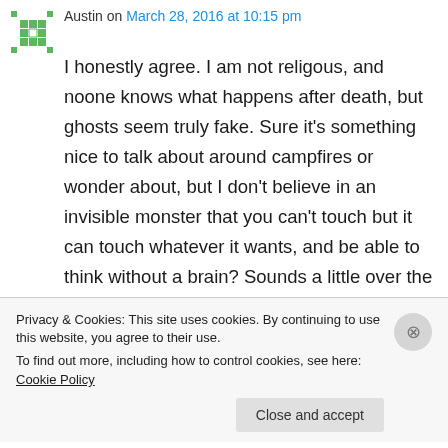Austin on March 28, 2016 at 10:15 pm
I honestly agree. I am not religous, and noone knows what happens after death, but ghosts seem truly fake. Sure it’s something nice to talk about around campfires or wonder about, but I don’t believe in an invisible monster that you can’t touch but it can touch whatever it wants, and be able to think without a brain? Sounds a little over the top.
★ Liked by 1 person
Privacy & Cookies: This site uses cookies. By continuing to use this website, you agree to their use.
To find out more, including how to control cookies, see here: Cookie Policy